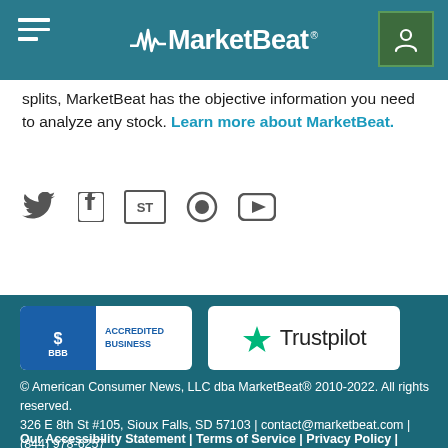MarketBeat
splits, MarketBeat has the objective information you need to analyze any stock. Learn more about MarketBeat.
[Figure (illustration): Social media icons: Twitter, Facebook, StockTwits, Mediabistro, YouTube]
[Figure (logo): BBB Accredited Business badge]
[Figure (logo): Trustpilot logo badge]
© American Consumer News, LLC dba MarketBeat® 2010-2022. All rights reserved.
326 E 8th St #105, Sioux Falls, SD 57103 | contact@marketbeat.com | (844) 978-6257
MarketBeat does not provide personalized financial advice and does not issue recommendations or offers to buy stock or sell any security.
Our Accessibility Statement | Terms of Service | Privacy Policy | Do Not Sell My Information | RSS Feeds